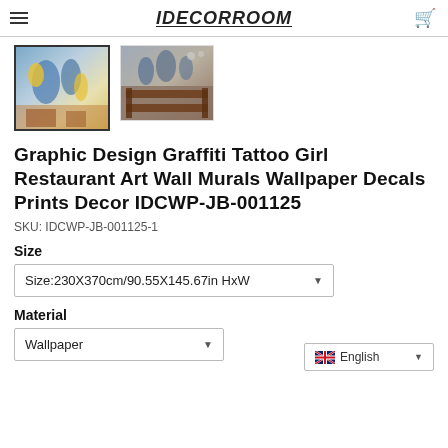IDECORROOM
[Figure (photo): Two product thumbnail images: first shows a room with graffiti/tattoo girl wall mural artwork with yellow and blue floral motifs; second shows a restaurant interior with wooden tables and benches, blue botanical mural on wall.]
Graphic Design Graffiti Tattoo Girl Restaurant Art Wall Murals Wallpaper Decals Prints Decor IDCWP-JB-001125
SKU: IDCWP-JB-001125-1
Size
Size:230X370cm/90.55X145.67in HxW
Material
Wallpaper
English